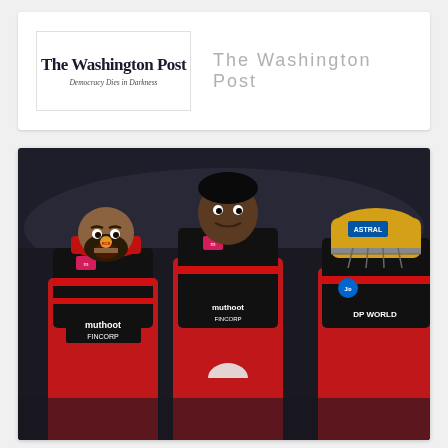[Figure (logo): The Washington Post logo with 'Democracy Dies in Darkness' tagline, followed by 'The Washington Post' text in gray]
[Figure (photo): Three Royal Challengers Bangalore (RCB) cricket players in black and red jerseys with Muthoot Fincorp sponsorship. Left player wearing red cap appears to be shouting, center player is tall without helmet, right player wearing yellow helmet with DP World logo. IPL cricket match setting.]